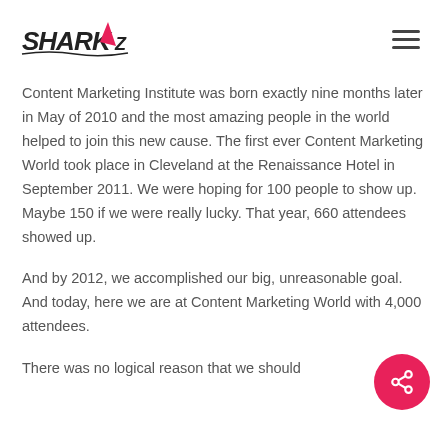SHARKZ logo and hamburger menu
Content Marketing Institute was born exactly nine months later in May of 2010 and the most amazing people in the world helped to join this new cause. The first ever Content Marketing World took place in Cleveland at the Renaissance Hotel in September 2011. We were hoping for 100 people to show up. Maybe 150 if we were really lucky. That year, 660 attendees showed up.
And by 2012, we accomplished our big, unreasonable goal. And today, here we are at Content Marketing World with 4,000 attendees.
There was no logical reason that we should